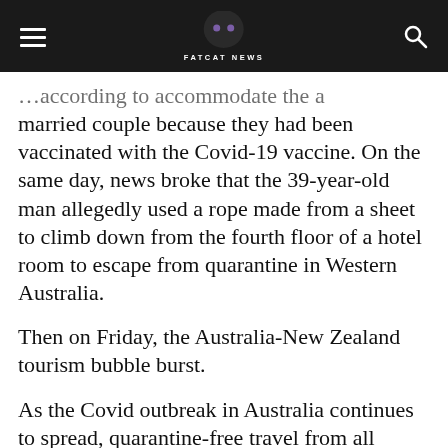FATCAT NEWS
...according to accommodate the a married couple because they had been vaccinated with the Covid-19 vaccine. On the same day, news broke that the 39-year-old man allegedly used a rope made from a sheet to climb down from the fourth floor of a hotel room to escape from quarantine in Western Australia.
Then on Friday, the Australia-New Zealand tourism bubble burst.
As the Covid outbreak in Australia continues to spread, quarantine-free travel from all Australian states and territories to New Zealand will now be suspended for at least eight weeks, New Zealand Prime Minister